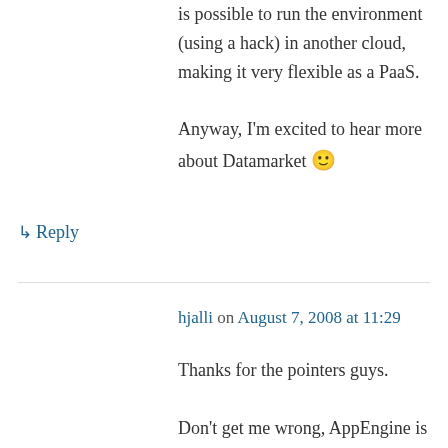is possible to run the environment (using a hack) in another cloud, making it very flexible as a PaaS.
Anyway, I'm excited to hear more about Datamarket 🙂
↳ Reply
hjalli on August 7, 2008 at 11:29
Thanks for the pointers guys.
Don't get me wrong, AppEngine is cool and considering the new info you point to, the actual lock-in may not be as bad as I thought. The AppEngine-on-EC2 is however still a hack, and as such, its future compatibility is clearly not a